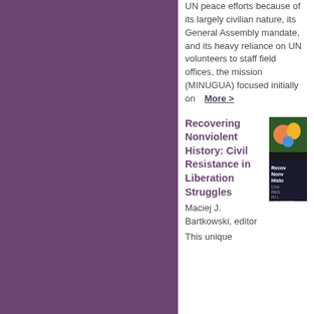UN peace efforts because of its largely civilian nature, its General Assembly mandate, and its heavy reliance on UN volunteers to staff field offices, the mission (MINUGUA) focused initially on   More >
Recovering Nonviolent History: Civil Resistance in Liberation Struggles
Maciej J. Bartkowski, editor
This unique
[Figure (photo): Book cover of 'Recovering Nonviolent History: Civil Resistance in Liberation Struggles' edited by Maciej J. Bartkowski, showing colorful illustration]